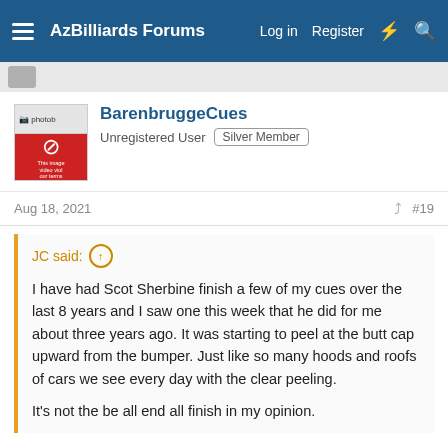AzBilliards Forums  Log in  Register
BarenbruggeCues
Unregistered User  Silver Member
Aug 18, 2021  #19
JC said:
I have had Scot Sherbine finish a few of my cues over the last 8 years and I saw one this week that he did for me about three years ago. It was starting to peel at the butt cap upward from the bumper. Just like so many hoods and roofs of cars we see every day with the clear peeling.

It's not the be all end all finish in my opinion.
John...
I stand by my personal assessment on a 2 part auto finish. However, I will agree that just because one uses a 2 part finish does not mean it's the end all. Proper prep and sealing pre...